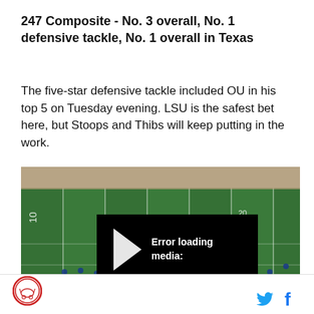247 Composite - No. 3 overall, No. 1 defensive tackle, No. 1 overall in Texas
The five-star defensive tackle included OU in his top 5 on Tuesday evening. LSU is the safest bet here, but Stoops and Thibs will keep putting in the work.
[Figure (screenshot): Football field aerial view with players lined up. An error overlay reads 'Error loading media:' with a play button arrow icon.]
Logo icon | Twitter icon | Facebook icon